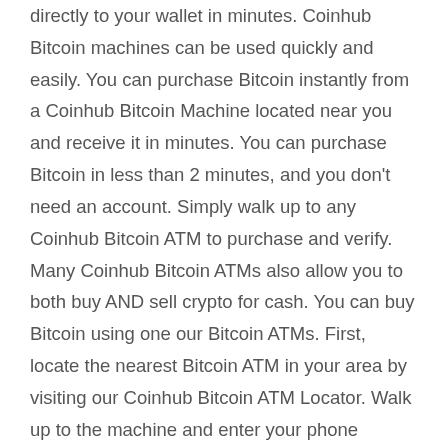directly to your wallet in minutes. Coinhub Bitcoin machines can be used quickly and easily. You can purchase Bitcoin instantly from a Coinhub Bitcoin Machine located near you and receive it in minutes. You can purchase Bitcoin in less than 2 minutes, and you don't need an account. Simply walk up to any Coinhub Bitcoin ATM to purchase and verify. Many Coinhub Bitcoin ATMs also allow you to both buy AND sell crypto for cash. You can buy Bitcoin using one our Bitcoin ATMs. First, locate the nearest Bitcoin ATM in your area by visiting our Coinhub Bitcoin ATM Locator. Walk up to the machine and enter your phone number. The machine will verify your phone using a code and scan the bitcoin wallet. Enter each bill one at a time to determine the amount you wish to purchase. After that, confirm the purchase by entering the bitcoin atm. Bitcoin is then instantly sent to your wallet. The daily buying limit is $25,000. We have Bitcoin Machines